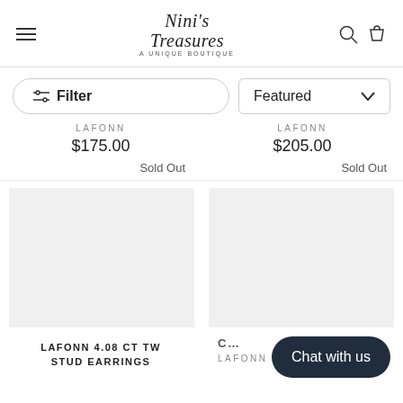Nini's Treasures – A Unique Boutique
Filter | Featured
LAFONN $175.00 Sold Out
LAFONN $205.00 Sold Out
LAFONN 4.08 CT TW STUD EARRINGS
LAFONN
Chat with us